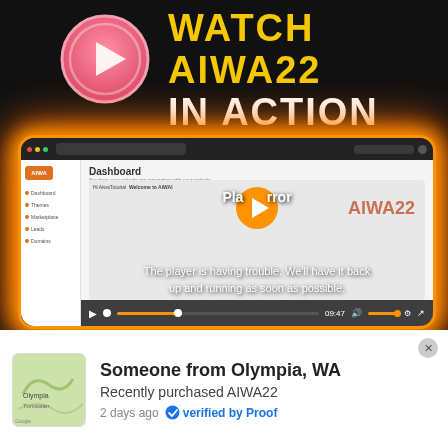[Figure (illustration): Pink circular play button icon with gradient background]
WATCH AIWA22 IN ACTION
[Figure (screenshot): Screenshot of AIWA22 dashboard with video player showing error message: The player is having trouble. We'll have it back up and running as soon as possible. Timestamp 09:47.]
Someone from Olympia, WA
Recently purchased AIWA22
2 days ago  verified by Proof